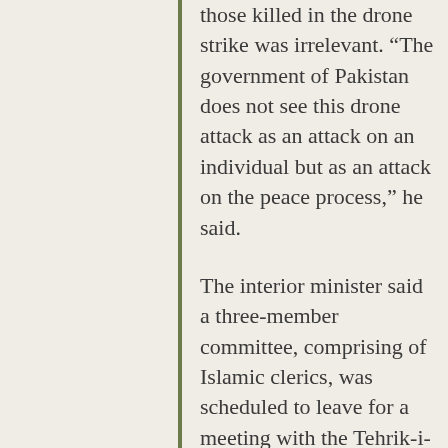those killed in the drone strike was irrelevant. “The government of Pakistan does not see this drone attack as an attack on an individual but as an attack on the peace process,” he said.
The interior minister said a three-member committee, comprising of Islamic clerics, was scheduled to leave for a meeting with the Tehrik-i-Taliban Pakistan (TTP) leadership on Saturday morning.
Claiming that TTP leadership including Hakimullah was aware of the meeting, he said he had written and telephonic records of recent correspondence between the